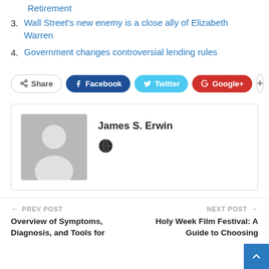Retirement
3. Wall Street’s new enemy is a close ally of Elizabeth Warren
4. Government changes controversial lending rules
[Figure (other): Social share buttons: Share, Facebook, Twitter, Google+, and a plus button]
[Figure (other): Author bio box with grey avatar silhouette placeholder, author name James S. Erwin, and a globe/pin icon]
PREV POST
Overview of Symptoms, Diagnosis, and Tools for
NEXT POST
Holy Week Film Festival: A Guide to Choosing